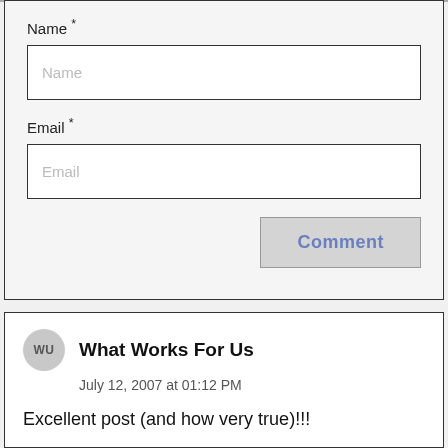Name *
Name (placeholder)
Email *
Email (placeholder)
Comment (button)
WU
What Works For Us
July 12, 2007 at 01:12 PM
Excellent post (and how very true)!!!